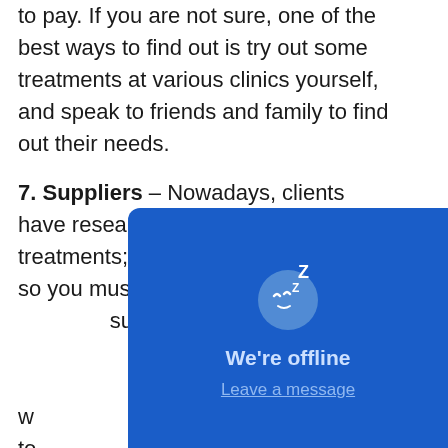to pay. If you are not sure, one of the best ways to find out is try out some treatments at various clinics yourself, and speak to friends and family to find out their needs.
7. Suppliers – Nowadays, clients have researched the different treatments; they are knowledgeable so you must be knowledgeable too. Ask your suppliers about their products; don't be afraid to ask for evidence and don't just take their word for it. You could even ask them to demonstrate. Only use reputable suppliers that offer follow up support and training.
[Figure (screenshot): A blue chat widget overlay showing a sleeping face emoji with Z letters indicating offline status, with text 'We're offline' and a 'Leave a message' underlined link.]